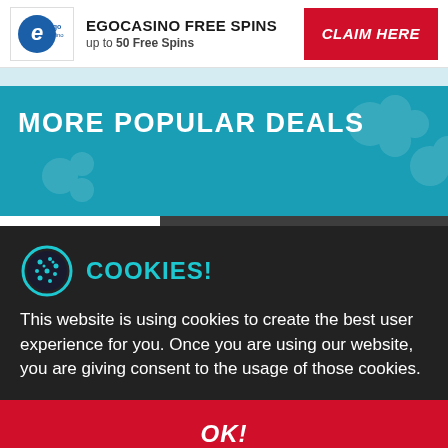[Figure (logo): EgoCasino logo - blue circular e icon with casino text]
EGOCASINO FREE SPINS
up to 50 Free Spins
CLAIM HERE
MORE POPULAR DEALS
[Figure (logo): SlotsMillion casino logo - SLOTS in multicolor letters, MILLION in dark below]
SLOTSMILLION FREE SPINS
[Figure (illustration): Cookie icon - circular cookie with dots pattern, teal/dark blue outline]
COOKIES!
This website is using cookies to create the best user experience for you. Once you are using our website, you are giving consent to the usage of those cookies.
OK!